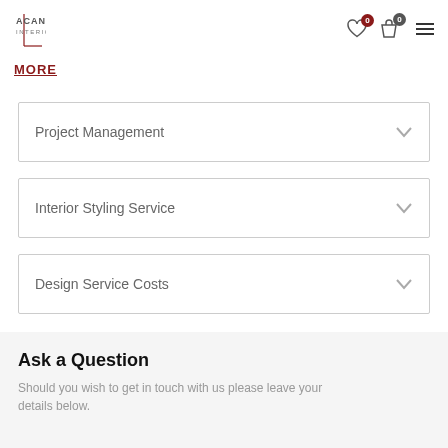Acanthus Interiors — navigation header with wishlist, cart, and menu icons
MORE
Project Management
Interior Styling Service
Design Service Costs
Ask a Question
Should you wish to get in touch with us please leave your details below.